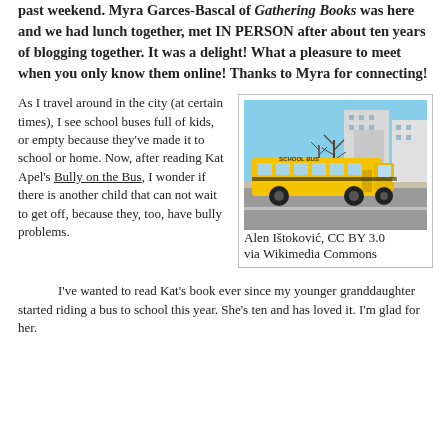past weekend. Myra Garces-Bascal of Gathering Books was here and we had lunch together, met IN PERSON after about ten years of blogging together. It was a delight! What a pleasure to meet when you only know them online! Thanks to Myra for connecting!
As I travel around in the city (at certain times), I see school buses full of kids, or empty because they've made it to school or home. Now, after reading Kat Apel's Bully on the Bus, I wonder if there is another child that can not wait to get off, because they, too, have bully problems.
[Figure (photo): A yellow school bus on a city street with trees and modern buildings in the background, sunny day.]
Alen Ištoković, CC BY 3.0 via Wikimedia Commons
I've wanted to read Kat's book ever since my younger granddaughter started riding a bus to school this year. She's ten and has loved it. I'm glad for her.